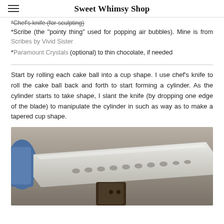Sweet Whimsy Shop
*Chef's knife (for sculpting)
*Scribe (the "pointy thing" used for popping air bubbles). Mine is from Scribes by Vivid Sister
*Paramount Crystals (optional) to thin chocolate, if needed
Start by rolling each cake ball into a cup shape. I use chef's knife to roll the cake ball back and forth to start forming a cylinder. As the cylinder starts to take shape, I slant the knife (by dropping one edge of the blade) to manipulate the cylinder in such as way as to make a tapered cup shape.
[Figure (photo): Close-up photo of a chef's knife blade on a metal surface, with a gloved hand visible on the left side. The blade shows scalloped indentations along its edge.]